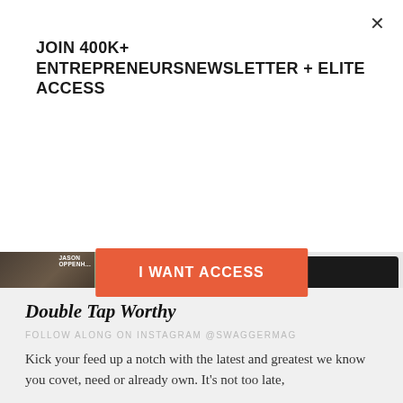JOIN 400K+ ENTREPRENEURSNEWSLETTER + ELITE ACCESS
I WANT ACCESS
[Figure (screenshot): Instagram profile widget for SWAGGER Magazine showing a grid of post thumbnails on the left and profile info panel on the right with stats: 917 Posts, 18.8K Followers, 7,425 Following. Bio: SWAGGER Magazine, STYLE. CLASS. LUXURY. North America's Premier Modern Men's Luxury Lifestyle Magazine more www.swaggermagazine.com/home/features/RudyP...]
Double Tap Worthy
FOLLOW ALONG ON INSTAGRAM @SWAGGERMAG
Kick your feed up a notch with the latest and greatest we know you covet, need or already own. It's not too late,